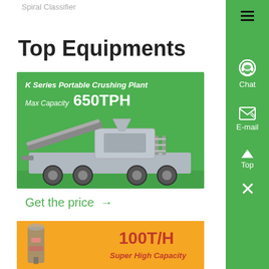Spiral Classifier
Top Equipments
[Figure (photo): K Series Portable Crushing Plant advertisement banner on green background. Max Capacity 650TPH. Shows image of a large mobile crushing plant on a truck.]
Get the price →
[Figure (photo): Industrial equipment on orange/yellow background. 100T/H Super High Capacity label visible.]